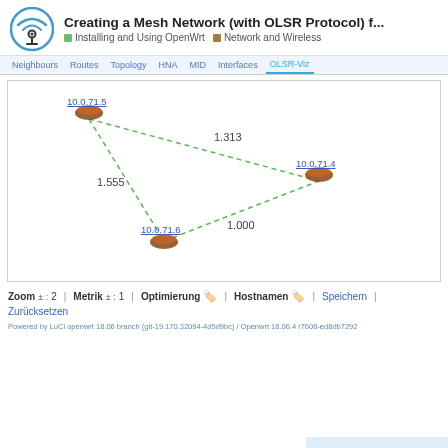Creating a Mesh Network (with OLSR Protocol) f... | Installing and Using OpenWrt | Network and Wireless
[Figure (network-graph): OLSR topology visualization showing three network nodes: 10.0.71.5 (top-left), 10.0.71.4 (right), and 10.0.71.6 (bottom-center), connected by dotted green lines with link cost labels: 1.313 (top connection), 1.555 (left side), 1.000 (center-bottom)]
Zoom ± : 2 | Metrik ± : 1 | Optimierung ✔ | Hostnamen ✔ | Speichern | Zurücksetzen
Powered by LuCi openwrt 18.06 branch (git-19.170.32094-4d5d9bc) / Openwrt 18.06.4 r7608-ed8db7292
12 / 26